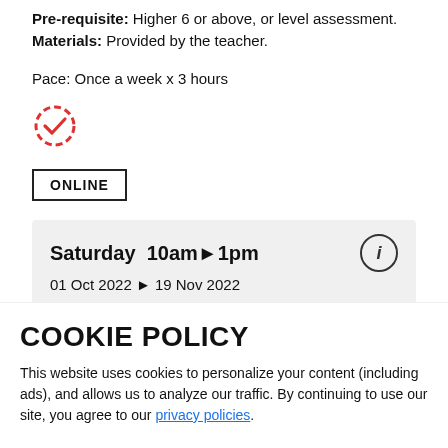Pre-requisite: Higher 6 or above, or level assessment. Materials: Provided by the teacher.
Pace: Once a week x 3 hours
[Figure (illustration): Red dashed circle with a checkmark icon indicating completion or availability]
ONLINE
Saturday  10am▶1pm
01 Oct 2022 ▶ 19 Nov 2022
COOKIE POLICY
This website uses cookies to personalize your content (including ads), and allows us to analyze our traffic. By continuing to use our site, you agree to our privacy policies.
OK